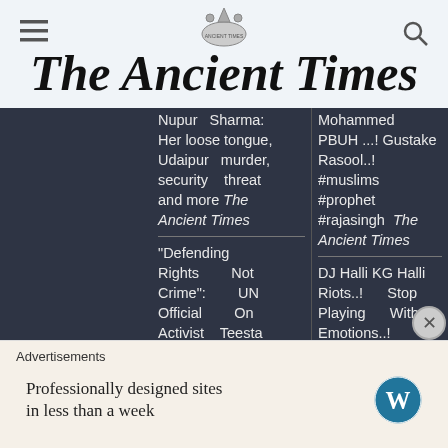The Ancient Times
Nupur Sharma: Her loose tongue, Udaipur murder, security threat and more The Ancient Times
Mohammed PBUH ...! Gustake Rasool..! #muslims #prophet #rajasingh The Ancient Times
"Defending Rights Not Crime": UN Official On Activist Teesta Setalvad's illegal arrest by Gujarat
DJ Halli KG Halli Riots..! Stop Playing With Emotions..! COMMITTEE FORMATION!
Advertisements
Professionally designed sites in less than a week